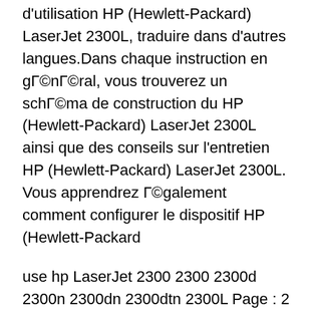d'utilisation HP (Hewlett-Packard) LaserJet 2300L, traduire dans d'autres langues.Dans chaque instruction en général, vous trouverez un schéma de construction du HP (Hewlett-Packard) LaserJet 2300L ainsi que des conseils sur l'entretien HP (Hewlett-Packard) LaserJet 2300L. Vous apprendrez également comment configurer le dispositif HP (Hewlett-Packard
use hp LaserJet 2300 2300 2300d 2300n 2300dn 2300dtn 2300L Page : 2 hp LaserJet 2300 series printers use Page : 180 ENWW Declarations of conformity 179 Canadian DOC regulations Complies with Canadian EMC Class B requirements. В«Conforme Г  la classe B des normes canadiennes de compatibilitГ©